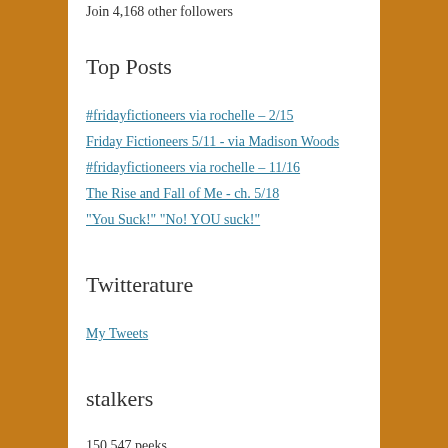Join 4,168 other followers
Top Posts
#fridayfictioneers via rochelle – 2/15
Friday Fictioneers 5/11 - via Madison Woods
#fridayfictioneers via rochelle – 11/16
The Rise and Fall of Me - ch. 5/18
"You Suck!" "No! YOU suck!"
Twitterature
My Tweets
stalkers
150,547 peeks